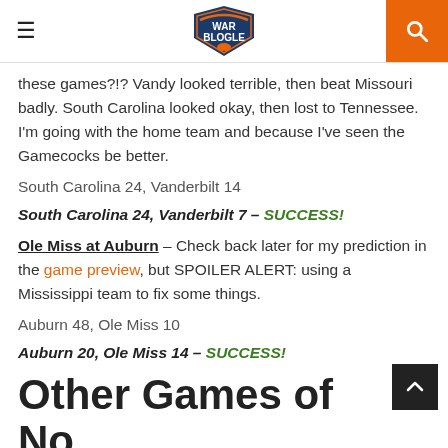War Blogle
these games?!? Vandy looked terrible, then beat Missouri badly. South Carolina looked okay, then lost to Tennessee. I'm going with the home team and because I've seen the Gamecocks be better.
South Carolina 24, Vanderbilt 14
South Carolina 24, Vanderbilt 7 – SUCCESS!
Ole Miss at Auburn – Check back later for my prediction in the game preview, but SPOILER ALERT: using a Mississippi team to fix some things.
Auburn 48, Ole Miss 10
Auburn 20, Ole Miss 14 – SUCCESS!
Other Games of No...